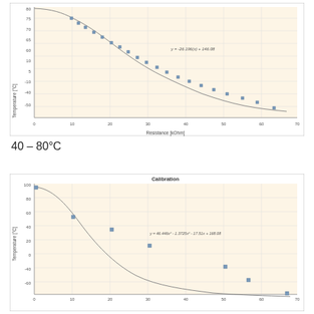[Figure (continuous-plot): Scatter plot with fitted curve of Temperature (°C) vs Resistance (kOhm). The curve decreases from top-left to bottom-right, following an exponential decay. Equation shown: y = -26.196(x) + 146.08. Temperature ranges from about -55 to 80°C, Resistance from 0 to 70 kOhm.]
40 – 80°C
[Figure (continuous-plot): Scatter plot with fitted curve of Temperature (°C) vs Resistance (kOhm) for range 40-80°C. The curve decreases steeply from top-left to bottom-right. Equation shown: y = 46.446x² - 1.3725x² - 17.51x + 168.08. Temperature from about -80 to 100°C, Resistance from 0 to ~70 kOhm.]